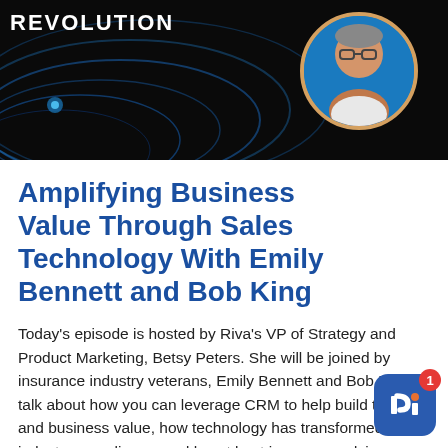[Figure (photo): Podcast banner with 'REVOLUTION' text and dark background with blue wave graphics, and a circular avatar photo of a man with glasses on a blue background]
Amplifying Business Value Through Sales Technology With Emily Bennett and Bob King
Today's episode is hosted by Riva's VP of Strategy and Product Marketing, Betsy Peters. She will be joined by insurance industry veterans, Emily Bennett and Bob King to talk about how you can leverage CRM to help build trust and business value, how technology has transformed industry compliance, and how the best insurance advisors implement...